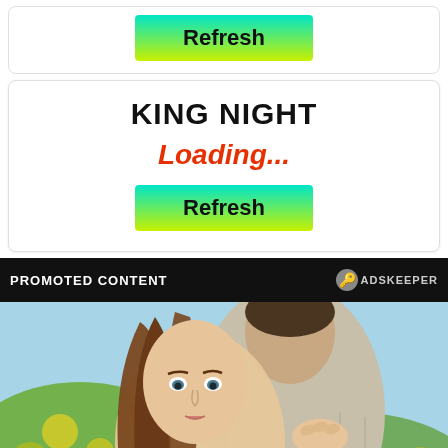[Figure (screenshot): Refresh button with cyan-to-yellow-green gradient background, black bold text]
KING NIGHT
Loading...
[Figure (screenshot): Refresh button with cyan-to-yellow-green gradient background, black bold text]
PROMOTED CONTENT
[Figure (photo): A young woman with long brown hair hugs a man from behind, resting her chin on his shoulder and looking at the camera. They are outdoors with yellow flowers and green grass in the background.]